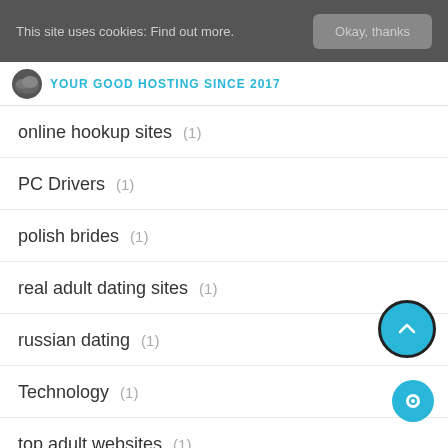This site uses cookies. Find out more. Okay, thanks
[Figure (logo): Cloud hosting logo with text YOUR GOOD HOSTING SINCE 2017]
online hookup sites (1)
PC Drivers (1)
polish brides (1)
real adult dating sites (1)
russian dating (1)
Technology (1)
top adult websites (1)
top latin women (1)